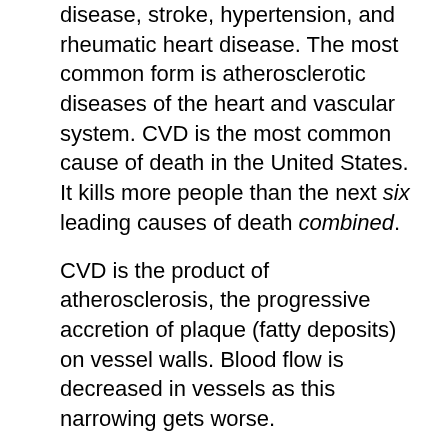disease, stroke, hypertension, and rheumatic heart disease. The most common form is atherosclerotic diseases of the heart and vascular system. CVD is the most common cause of death in the United States. It kills more people than the next six leading causes of death combined.
CVD is the product of atherosclerosis, the progressive accretion of plaque (fatty deposits) on vessel walls. Blood flow is decreased in vessels as this narrowing gets worse.
If a blood clot lodges in a vessel narrowed by atherosclerosis, the blood flow can be stopped completely and the tissues downstream will die. When this takes place in a heart vessel, a heart attack transpires.
Why is understanding this so important?
Because unfortunately, the prevalence of CVD is not improving. The decline in deaths from CVD is not due to